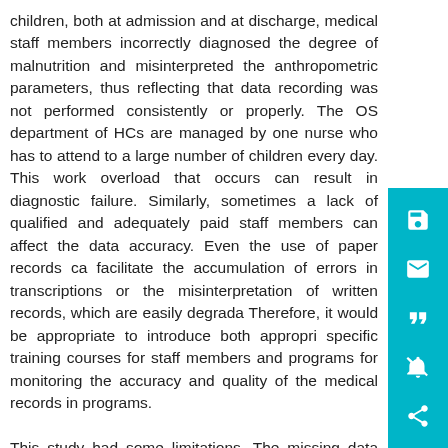children, both at admission and at discharge, medical staff members incorrectly diagnosed the degree of malnutrition and misinterpreted the anthropometric parameters, thus reflecting that data recording was not performed consistently or properly. The OS department of HCs are managed by one nurse who has to attend to a large number of children every day. This work overload that occurs can result in diagnostic failure. Similarly, sometimes a lack of qualified and adequately paid staff members can affect the data accuracy. Even the use of paper records can facilitate the accumulation of errors in transcriptions or the misinterpretation of written records, which are easily degradable. Therefore, it would be appropriate to introduce both appropriate specific training courses for staff members and programs for monitoring the accuracy and quality of the medical records in these programs.

This study had some limitations. The missing data greatly reduced the sample size, thereby affecting our ability to assess the impact on growth. This reflects the relevant problems associated with data accuracy and data management in developing countries. Another important limitation was the lack of evaluation of the